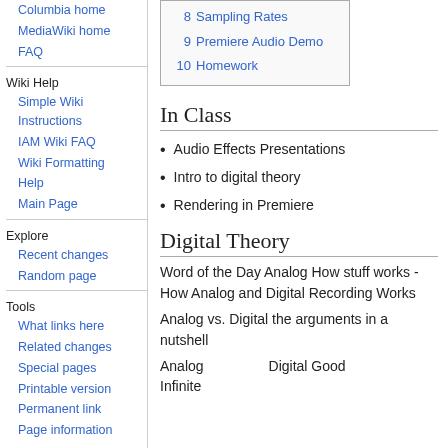Columbia home
MediaWiki home
FAQ
Wiki Help
Simple Wiki Instructions
IAM Wiki FAQ
Wiki Formatting
Help
Main Page
Explore
Recent changes
Random page
Tools
What links here
Related changes
Special pages
Printable version
Permanent link
Page information
| 8 | Sampling Rates |
| 9 | Premiere Audio Demo |
| 10 | Homework |
In Class
Audio Effects Presentations
Intro to digital theory
Rendering in Premiere
Digital Theory
Word of the Day Analog How stuff works - How Analog and Digital Recording Works
Analog vs. Digital the arguments in a nutshell
| Analog | Digital Good |
| --- | --- |
| Infinite |  |